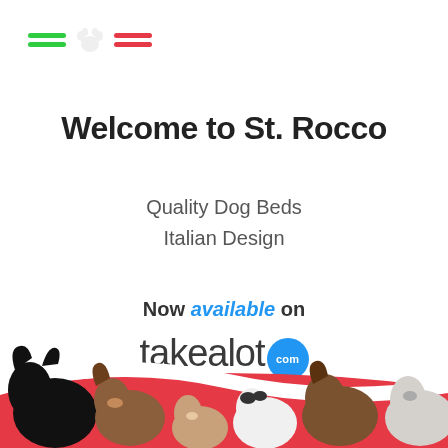[Figure (logo): Italian flag-style bars (green and red) flanking a light grey paw print icon — St. Rocco brand logo element]
Welcome to St. Rocco
Quality Dog Beds
Italian Design
Now available on
[Figure (logo): takealot.com logo — 'takealot' in dark grey with a blue circle badge containing 'com' in white]
[Figure (photo): Row of various dog breeds peeking over a red curved banner at the bottom of the page]